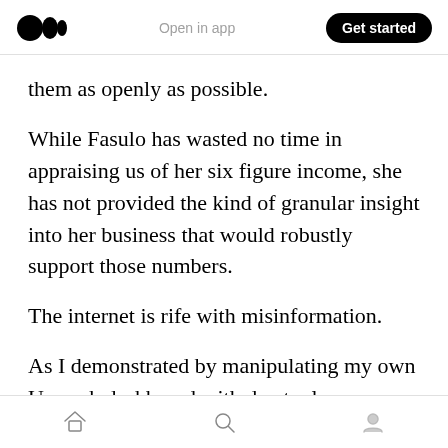Medium logo | Open in app | Get started
them as openly as possible.
While Fasulo has wasted no time in appraising us of her six figure income, she has not provided the kind of granular insight into her business that would robustly support those numbers.
The internet is rife with misinformation.
As I demonstrated by manipulating my own Upwork dashboard with dev tools, screenshots can be easily doctored. Just about anything involving a computer can be faked.
Home | Search | Profile